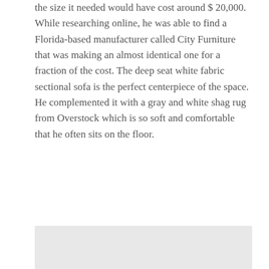the size it needed would have cost around $ 20,000. While researching online, he was able to find a Florida-based manufacturer called City Furniture that was making an almost identical one for a fraction of the cost. The deep seat white fabric sectional sofa is the perfect centerpiece of the space. He complemented it with a gray and white shag rug from Overstock which is so soft and comfortable that he often sits on the floor.
The windows face the railroad tracks, but the a foot thick walls keep noise to a minimum, and Eckholm says he’s got used to watching the wagons go by, wondering what they’re carrying.
[Figure (other): Gray rectangle placeholder image at bottom of page]